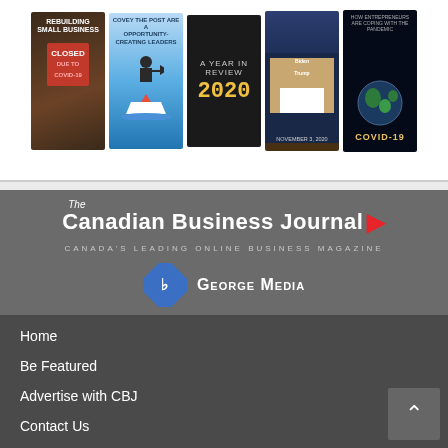[Figure (screenshot): Row of 5 magazine thumbnail covers: Rebuilding Small Business (closed sign), Opportunity-Creating Leaders (figure in boat), A Year in Review 2020, Biden vs Trump November 3 2020, COVID-19 earth image]
[Figure (logo): The Canadian Business Journal logo with red maple leaf, tagline CANADA'S LEADING ONLINE BUSINESS MAGAZINE, and George Media logo below]
Home
Be Featured
Advertise with CBJ
Contact Us